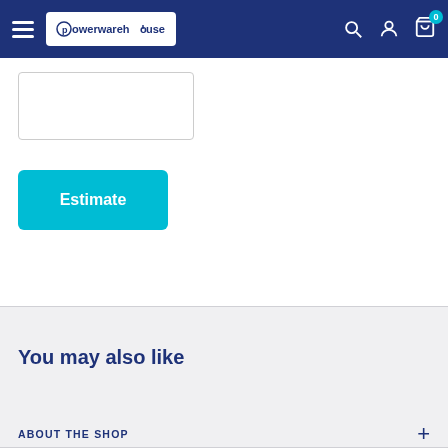Powerwarehouse — navigation bar with logo, search, account, and cart icons
[Figure (screenshot): Empty white input/text box (form field)]
Estimate
You may also like
ABOUT THE SHOP